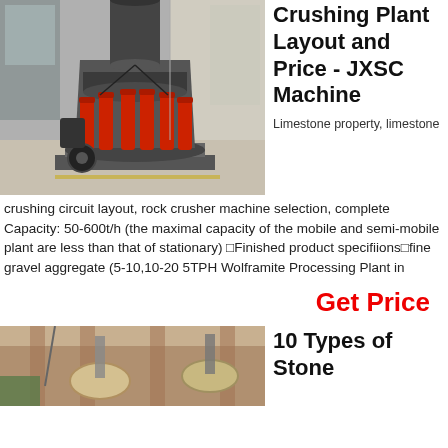[Figure (photo): Industrial cone crusher machine (grey body with red hydraulic cylinders) in a factory/warehouse setting with light-colored walls and floor.]
Crushing Plant Layout and Price - JXSC Machine
Limestone property, limestone crushing circuit layout, rock crusher machine selection, complete Capacity: 50-600t/h (the maximal capacity of the mobile and semi-mobile plant are less than that of stationary) ⊡Finished product specifiions⊡fine gravel aggregate (5-10,10-20 5TPH Wolframite Processing Plant in
Get Price
[Figure (photo): Interior of a stone processing facility showing conveyor or pipe systems hanging from ceiling structure.]
10 Types of Stone